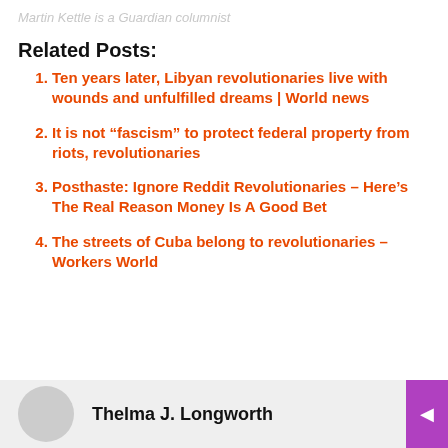Martin Kettle is a Guardian columnist
Related Posts:
Ten years later, Libyan revolutionaries live with wounds and unfulfilled dreams | World news
It is not “fascism” to protect federal property from riots, revolutionaries
Posthaste: Ignore Reddit Revolutionaries – Here’s The Real Reason Money Is A Good Bet
The streets of Cuba belong to revolutionaries – Workers World
Thelma J. Longworth